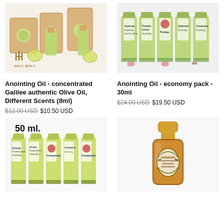[Figure (photo): Anointing oil bottles and boxes with Holy Moly branding, Galilee olive oil products in small 8ml bottles and packaging]
[Figure (photo): Anointing Oil economy pack 30ml bottles in a row with colorful labels showing Hyssop, Frankincense, Pomegranate, Spikenard, Cinnamon scents]
Anointing Oil - concentrated Galilee authentic Olive Oil, Different Scents (8ml)
$12.00 USD $10.50 USD
Anointing Oil - economy pack - 30ml
$24.00 USD $19.50 USD
[Figure (photo): 50ml anointing oil bottles in a row with colorful labels, multiple scents including Hyssop, Frankincense, Pomegranate, Cinnamon]
[Figure (photo): Single amber/brown bottle of anointing oil with gold cap and label]